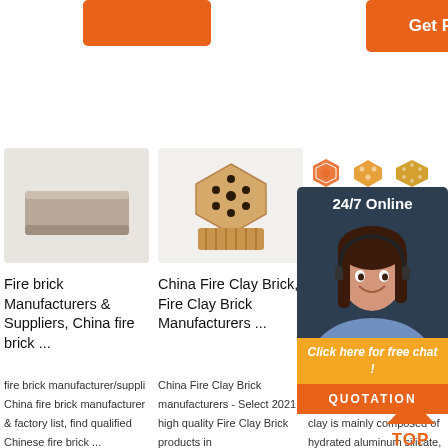[Figure (other): Orange button (top left, partial)]
[Figure (other): Get Price orange button]
[Figure (photo): Fire brick - rectangular clay brick product photo]
Fire brick Manufacturers & Suppliers, China fire brick ...
fire brick manufacturer/supplier, China fire brick manufacturer & factory list, find qualified Chinese fire brick ...
[Figure (photo): China Fire Clay Brick - honeycomb ceramic product photo]
China Fire Clay Brick, Fire Clay Brick Manufacturers ...
China Fire Clay Brick manufacturers - Select 2021 high quality Fire Clay Brick products in
[Figure (other): Three orange honeycomb hexagonal icons]
Chea Refra Brick Supp
Raw M Fire Br Sale. T raw ma fire bri are fire clay. Fire clay is mainly composed of hydrated aluminum silicate, and its molecular
[Figure (other): 24/7 Online chat widget with agent photo, Click here for free chat, QUOTATION button]
[Figure (other): TOP icon with orange triangle and orange text]